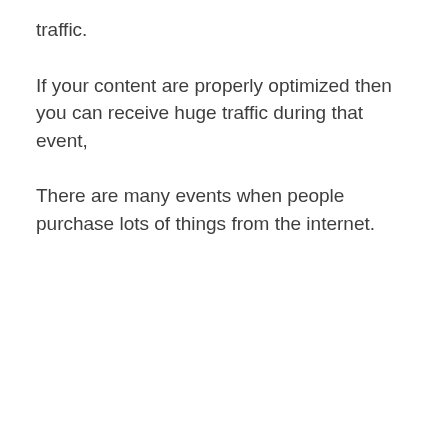traffic.
If your content are properly optimized then you can receive huge traffic during that event,
There are many events when people purchase lots of things from the internet.